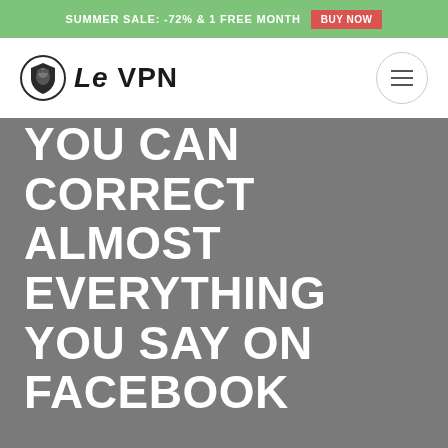SUMMER SALE: -72% & 1 FREE MONTH  BUY NOW
[Figure (logo): Le VPN logo: shield icon with lion head inside a circle, beside the text 'Le VPN']
YOU CAN CORRECT ALMOST EVERYTHING YOU SAY ON FACEBOOK